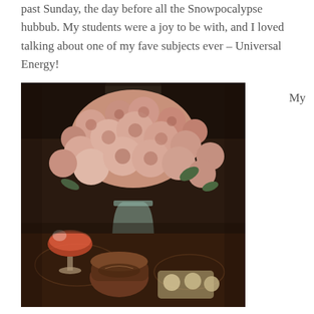past Sunday, the day before all the Snowpocalypse hubbub. My students were a joy to be with, and I loved talking about one of my fave subjects ever – Universal Energy!
[Figure (photo): A bouquet of light pink roses in a glass vase on a table, with a wine glass, a candle, and small round objects visible in the foreground.]
My